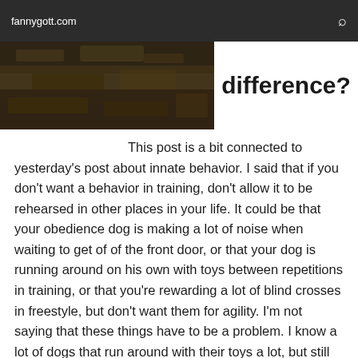fannygott.com
[Figure (photo): Aerial or close-up photo of dark earthy/burnt ground texture]
difference?
This post is a bit connected to yesterday's post about innate behavior. I said that if you don't want a behavior in training, don't allow it to be rehearsed in other places in your life. It could be that your obedience dog is making a lot of noise when waiting to get of of the front door, or that your dog is running around on his own with toys between repetitions in training, or that you're rewarding a lot of blind crosses in freestyle, but don't want them for agility. I'm not saying that these things have to be a problem. I know a lot of dogs that run around with their toys a lot, but still have a great retrieve. And I know a lot of dogs that make noise in some situations in life but never in obedience. You don't need to create problems that aren't there. But if you are having a problem with a